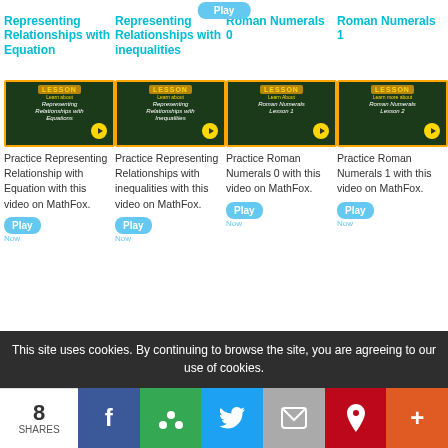Play
Representing Relationships with Equation
Representing Relationships with inequalities
Roman Numerals 0
Roman Numerals 1
[Figure (screenshot): Lesson thumbnail for Representing Relationships with Equations]
[Figure (screenshot): Lesson thumbnail for Representing Relationships with Inequalities]
[Figure (screenshot): Lesson thumbnail for Roman Numerals Lesson 1]
[Figure (screenshot): Lesson thumbnail for Roman Numerals Lesson 2]
Practice Representing Relationship with Equation with this video on MathFox.
Practice Representing Relationships with inequalities with this video on MathFox.
Practice Roman Numerals 0 with this video on MathFox.
Practice Roman Numerals 1 with this video on MathFox.
Play
Now
Play
Now
Play
Now
Play
Now
This site uses cookies. By continuing to browse the site, you are agreeing to our use of cookies.
8 SHARES
f
+
Twitter
Email
Pinterest
+